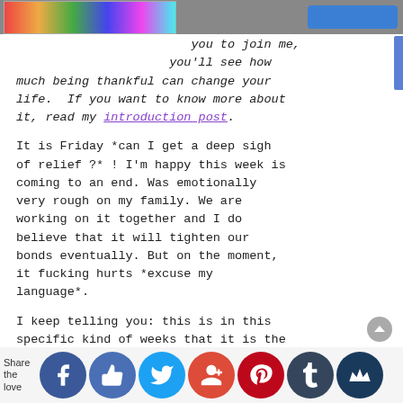[Figure (screenshot): Top navigation bar with colorful banner image on the left and blue button on the right]
you to join me, you'll see how much being thankful can change your life. If you want to know more about it, read my introduction post.
It is Friday *can I get a deep sigh of relief ?* ! I'm happy this week is coming to an end. Was emotionally very rough on my family. We are working on it together and I do believe that it will tighten our bonds eventually. But on the moment, it fucking hurts *excuse my language*.
I keep telling you: this is in this specific kind of weeks that it is the most important to carve some time to reflect on the goodness Life brings
[Figure (screenshot): Social share bar at the bottom with Facebook, Like, Twitter, Google+, Pinterest, Tumblr, and crown icon buttons]